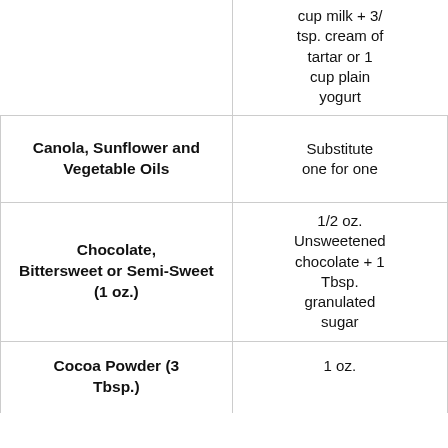| Ingredient | Substitution |
| --- | --- |
|  | cup milk + 3/4 tsp. cream of tartar or 1 cup plain yogurt |
| Canola, Sunflower and Vegetable Oils | Substitute one for one |
| Chocolate, Bittersweet or Semi-Sweet (1 oz.) | 1/2 oz. Unsweetened chocolate + 1 Tbsp. granulated sugar |
| Cocoa Powder (3 Tbsp.) | 1 oz. Unsweetened chocolate |